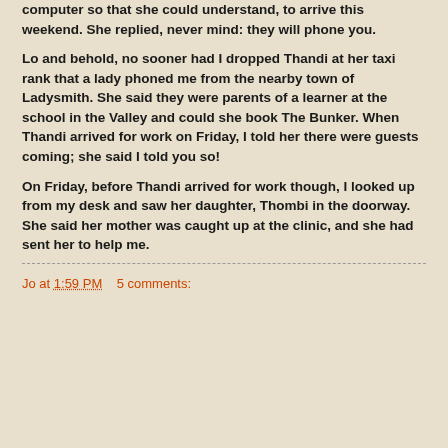computer so that she could understand, to arrive this weekend. She replied, never mind: they will phone you.
Lo and behold, no sooner had I dropped Thandi at her taxi rank that a lady phoned me from the nearby town of Ladysmith. She said they were parents of a learner at the school in the Valley and could she book The Bunker. When Thandi arrived for work on Friday, I told her there were guests coming; she said I told you so!
On Friday, before Thandi arrived for work though, I looked up from my desk and saw her daughter, Thombi in the doorway. She said her mother was caught up at the clinic, and she had sent her to help me.
Jo at 1:59 PM    5 comments: